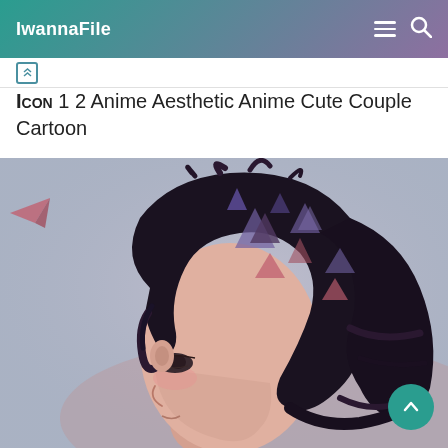IwannaFile
Icon 1 2 Anime Aesthetic Anime Cute Couple Cartoon
[Figure (illustration): Anime-style illustration of a male character in profile view with dark messy hair featuring geometric triangle highlights in pink and dark tones, facing left, with a soft muted background of greys and pinks.]